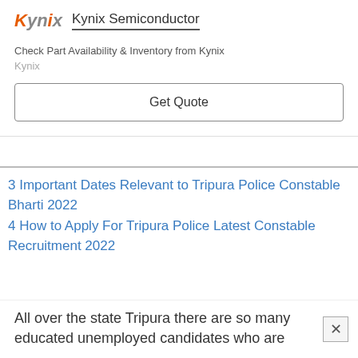[Figure (logo): Kynix Semiconductor logo and advertisement banner with 'Get Quote' button]
Check Part Availability & Inventory from Kynix
Kynix
Get Quote
3 Important Dates Relevant to Tripura Police Constable Bharti 2022
4 How to Apply For Tripura Police Latest Constable Recruitment 2022
All over the state Tripura there are so many educated unemployed candidates who are